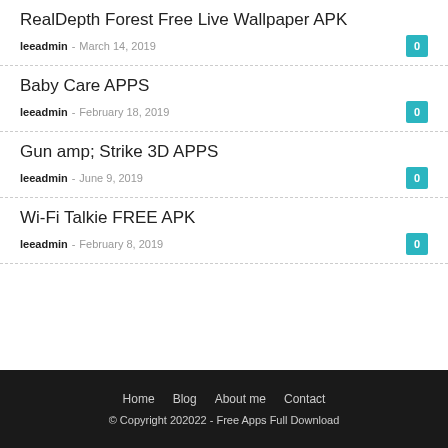RealDepth Forest Free Live Wallpaper APK
leeadmin - March 14, 2019
Baby Care APPS
leeadmin - February 18, 2019
Gun amp; Strike 3D APPS
leeadmin - June 9, 2019
Wi-Fi Talkie FREE APK
leeadmin - February 8, 2019
Home  Blog  About me  Contact
© Copyright 202022 - Free Apps Full Download